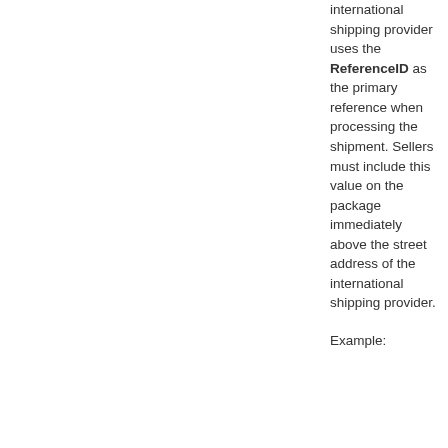international shipping provider uses the ReferenceID as the primary reference when processing the shipment. Sellers must include this value on the package immediately above the street address of the international shipping provider.
Example: